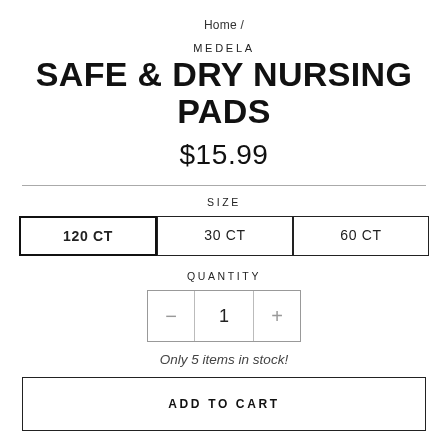Home /
MEDELA
SAFE & DRY NURSING PADS
$15.99
SIZE
120 CT  30 CT  60 CT
QUANTITY
−  1  +
Only 5 items in stock!
ADD TO CART